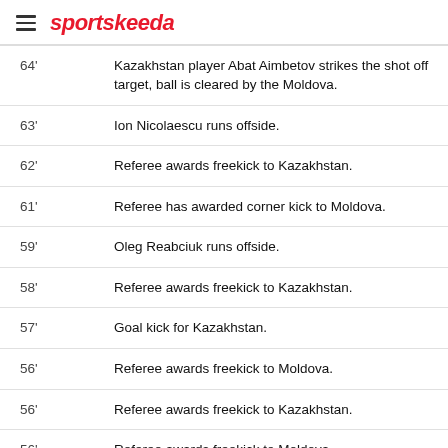sportskeeda
| Minute | Event |
| --- | --- |
| 64' | Kazakhstan player Abat Aimbetov strikes the shot off target, ball is cleared by the Moldova. |
| 63' | Ion Nicolaescu runs offside. |
| 62' | Referee awards freekick to Kazakhstan. |
| 61' | Referee has awarded corner kick to Moldova. |
| 59' | Oleg Reabciuk runs offside. |
| 58' | Referee awards freekick to Kazakhstan. |
| 57' | Goal kick for Kazakhstan. |
| 56' | Referee awards freekick to Moldova. |
| 56' | Referee awards freekick to Kazakhstan. |
| 56' | Referee awards freekick to Moldova. |
| 55' | Goal kick for Kazakhstan. |